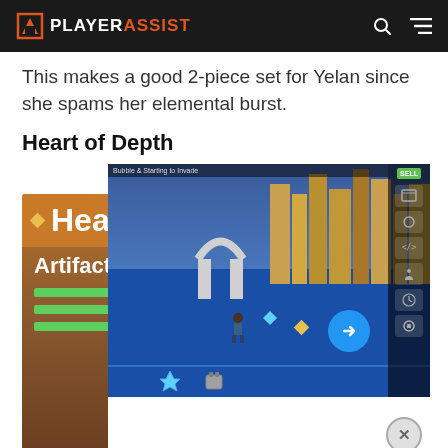PLAYERASSIST
This makes a good 2-piece set for Yelan since she spams her elemental burst.
Heart of Depth
[Figure (screenshot): Composite image showing a Genshin Impact artifact card for 'Heart of Depth' overlaid with a Roblox game screenshot. The artifact card shows the title 'Heart' and 'Artifact S' text on a brown background with green stat bars. The Roblox screenshot shows a colorful game environment with water, buildings, a character, and UI elements including an arrow button and close button.]